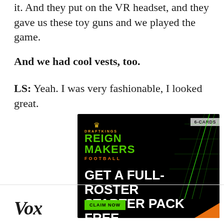it. And they put on the VR headset, and they gave us these toy guns and we played the game.
And we had cool vests, too.
LS: Yeah. I was very fashionable, I looked great.
[Figure (other): DraftKings Reign Makers Football advertisement. Black background with green glowing football field lines. Text reads: 6-CARDS badge, DRAFTKINGS REIGN MAKERS FOOTBALL, GET A FULL-ROSTER STARTER PACK FREE. CLAIM NOW button in green.]
Vox